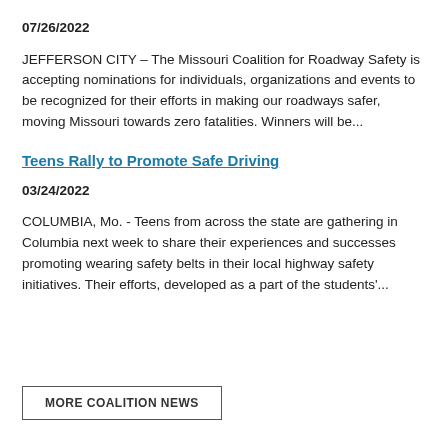07/26/2022
JEFFERSON CITY – The Missouri Coalition for Roadway Safety is accepting nominations for individuals, organizations and events to be recognized for their efforts in making our roadways safer, moving Missouri towards zero fatalities. Winners will be...
Teens Rally to Promote Safe Driving
03/24/2022
COLUMBIA, Mo. - Teens from across the state are gathering in Columbia next week to share their experiences and successes promoting wearing safety belts in their local highway safety initiatives. Their efforts, developed as a part of the students'...
MORE COALITION NEWS